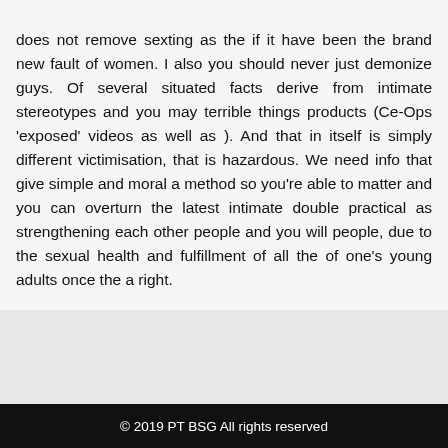does not remove sexting as the if it have been the brand new fault of women. I also you should never just demonize guys. Of several situated facts derive from intimate stereotypes and you may terrible things products (Ce-Ops 'exposed' videos as well as ). And that in itself is simply different victimisation, that is hazardous. We need info that give simple and moral a method so you're able to matter and you can overturn the latest intimate double practical as strengthening each other people and you will people, due to the sexual health and fulfillment of all the of one's young adults once the a right.
© 2019 PT BSG All rights reserved